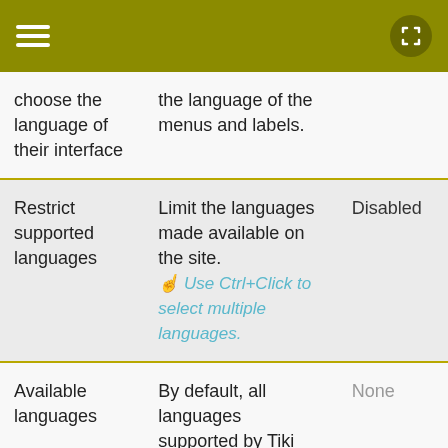| Setting | Description | Value |
| --- | --- | --- |
| choose the language of their interface | the language of the menus and labels. |  |
| Restrict supported languages | Limit the languages made available on the site. ☞ Use Ctrl+Click to select multiple languages. | Disabled |
| Available languages | By default, all languages supported by Tiki are available on multilingual sites. This option allows limiting the languages to a | None |